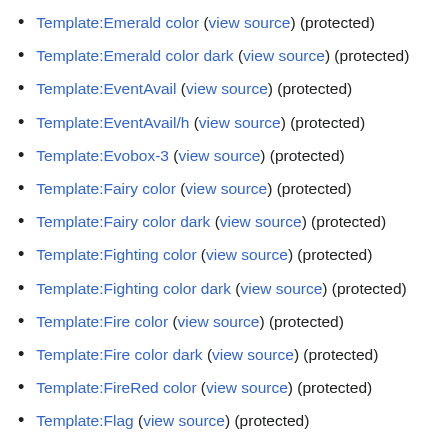Template:Emerald color (view source) (protected)
Template:Emerald color dark (view source) (protected)
Template:EventAvail (view source) (protected)
Template:EventAvail/h (view source) (protected)
Template:Evobox-3 (view source) (protected)
Template:Fairy color (view source) (protected)
Template:Fairy color dark (view source) (protected)
Template:Fighting color (view source) (protected)
Template:Fighting color dark (view source) (protected)
Template:Fire color (view source) (protected)
Template:Fire color dark (view source) (protected)
Template:FireRed color (view source) (protected)
Template:Flag (view source) (protected)